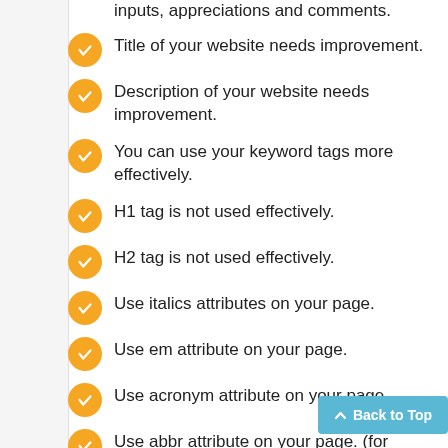inputs, appreciations and comments.
Title of your website needs improvement.
Description of your website needs improvement.
You can use your keyword tags more effectively.
H1 tag is not used effectively.
H2 tag is not used effectively.
Use italics attributes on your page.
Use em attribute on your page.
Use acronym attribute on your page.
Use abbr attribute on your page. (for HTML5)
Use dfn (definition) tag on